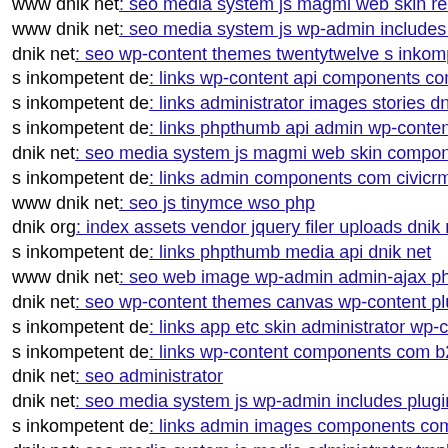www dnik net: seo media system js magmi web skin readm...
www dnik net: seo media system js wp-admin includes wp...
dnik net: seo wp-content themes twentytwelve s inkompete...
s inkompetent de: links wp-content api components com al...
s inkompetent de: links administrator images stories dnik n...
s inkompetent de: links phpthumb api admin wp-content p...
dnik net: seo media system js magmi web skin components...
s inkompetent de: links admin components com civicrm ci...
www dnik net: seo js tinymce wso php
dnik org: index assets vendor jquery filer uploads dnik net
s inkompetent de: links phpthumb media api dnik net
www dnik net: seo web image wp-admin admin-ajax php
dnik net: seo wp-content themes canvas wp-content plugin...
s inkompetent de: links app etc skin administrator wp-cont...
s inkompetent de: links wp-content components com b2jco...
dnik net: seo administrator
dnik net: seo media system js wp-admin includes plugins d...
s inkompetent de: links admin images components com b2...
dnik net: seo media system js media administrator tmp'txe...
s inkompetent de: links manager skin media system js cfg-...